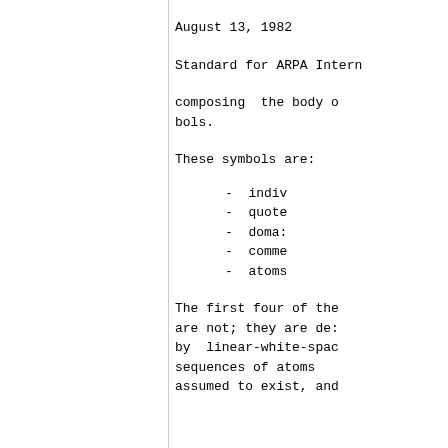August 13, 1982
Standard for ARPA Intern
composing  the body o
bols.
These symbols are:
- indiv
- quote
- doma:
- comme
- atoms
The first four of the
are not; they are de:
by  linear-white-spac
sequences of atoms
assumed to exist, and